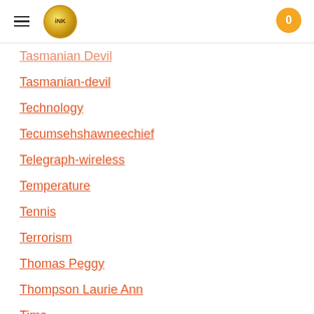INK — navigation header with hamburger menu and cart (0)
Tasmanian Devil
Tasmanian-devil
Technology
Tecumsehshawneechief
Telegraph-wireless
Temperature
Tennis
Terrorism
Thomas Peggy
Thompson Laurie Ann
Time
Titanic
Tombs
Tortoises
Towle Sarah